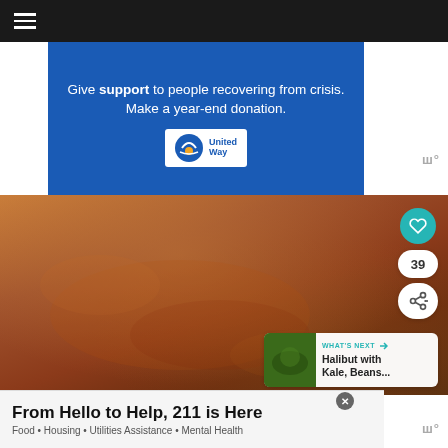Navigation menu bar
[Figure (infographic): United Way advertisement banner: 'Give support to people recovering from crisis. Make a year-end donation.' with United Way logo on blue background]
[Figure (photo): Close-up food photo showing cooked fish or meat on a warm brown/orange background, with heart/save button (teal circle), count badge showing 39, and share button overlay]
WHAT'S NEXT → Halibut with Kale, Beans...
From Hello to Help, 211 is Here
Food • Housing • Utilities Assistance • Mental Health